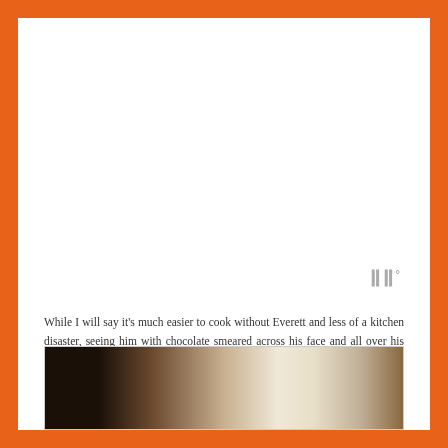[Figure (other): Small gray watermark icon resembling vertical bars with a superscript degree symbol]
While I will say it's much easier to cook without Everett and less of a kitchen disaster, seeing him with chocolate smeared across his face and all over his hands from a bite he snuck, makes the memory well worth the extra work.  And, I imagine that a few years down the road I'll actually be better off for it, with a nimble little helper in my kitchen.
[Figure (photo): Dark photograph showing a close-up of what appears to be a surface lit from the side, with dark brown and black tones on the left transitioning to lighter cream tones in the center and right]